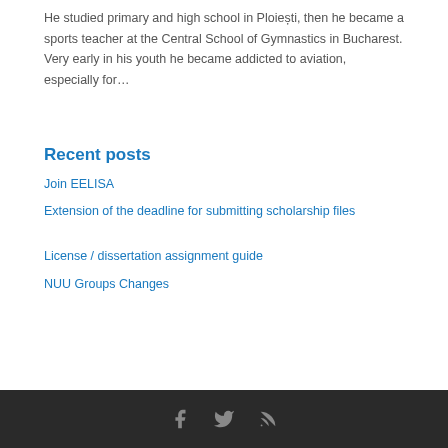He studied primary and high school in Ploiești, then he became a sports teacher at the Central School of Gymnastics in Bucharest. Very early in his youth he became addicted to aviation, especially for…
Recent posts
Join EELISA
Extension of the deadline for submitting scholarship files
License / dissertation assignment guide
NUU Groups Changes
Social media icons: Facebook, Twitter, RSS